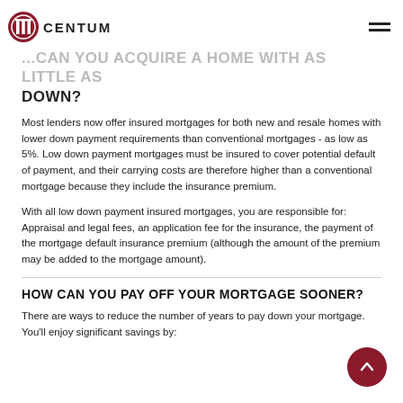CENTUM
...CAN YOU ACQUIRE A HOME WITH AS LITTLE AS 5% DOWN?
Most lenders now offer insured mortgages for both new and resale homes with lower down payment requirements than conventional mortgages - as low as 5%. Low down payment mortgages must be insured to cover potential default of payment, and their carrying costs are therefore higher than a conventional mortgage because they include the insurance premium.
With all low down payment insured mortgages, you are responsible for: Appraisal and legal fees, an application fee for the insurance, the payment of the mortgage default insurance premium (although the amount of the premium may be added to the mortgage amount).
HOW CAN YOU PAY OFF YOUR MORTGAGE SOONER?
There are ways to reduce the number of years to pay down your mortgage. You’ll enjoy significant savings by: